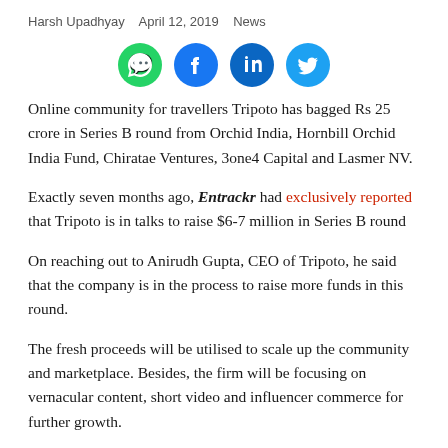Harsh Upadhyay   April 12, 2019   News
[Figure (infographic): Four social share buttons: WhatsApp (green), Facebook (dark blue), LinkedIn (blue), Twitter (light blue)]
Online community for travellers Tripoto has bagged Rs 25 crore in Series B round from Orchid India, Hornbill Orchid India Fund, Chiratae Ventures, 3one4 Capital and Lasmer NV.
Exactly seven months ago, Entrackr had exclusively reported that Tripoto is in talks to raise $6-7 million in Series B round
On reaching out to Anirudh Gupta, CEO of Tripoto, he said that the company is in the process to raise more funds in this round.
The fresh proceeds will be utilised to scale up the community and marketplace. Besides, the firm will be focusing on vernacular content, short video and influencer commerce for further growth.